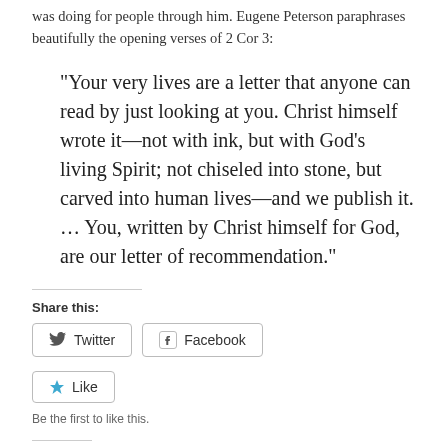was doing for people through him. Eugene Peterson paraphrases beautifully the opening verses of 2 Cor 3:
“Your very lives are a letter that anyone can read by just looking at you. Christ himself wrote it—not with ink, but with God’s living Spirit; not chiseled into stone, but carved into human lives—and we publish it. … You, written by Christ himself for God, are our letter of recommendation.”
Share this:
[Figure (screenshot): Share buttons: Twitter and Facebook]
[Figure (screenshot): Like button with star icon]
Be the first to like this.